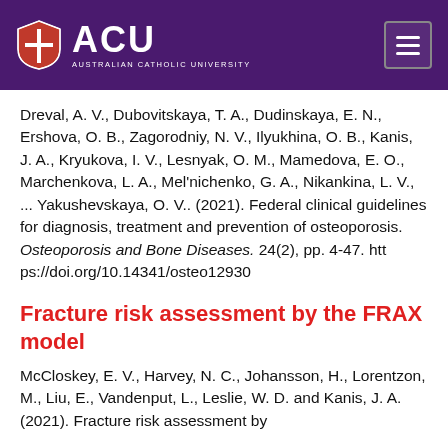ACU — Australian Catholic University
Dreval, A. V., Dubovitskaya, T. A., Dudinskaya, E. N., Ershova, O. B., Zagorodniy, N. V., Ilyukhina, O. B., Kanis, J. A., Kryukova, I. V., Lesnyak, O. M., Mamedova, E. O., Marchenkova, L. A., Mel'nichenko, G. A., Nikankina, L. V., ... Yakushevskaya, O. V.. (2021). Federal clinical guidelines for diagnosis, treatment and prevention of osteoporosis. Osteoporosis and Bone Diseases. 24(2), pp. 4-47. https://doi.org/10.14341/osteo12930
Fracture risk assessment by the FRAX model
McCloskey, E. V., Harvey, N. C., Johansson, H., Lorentzon, M., Liu, E., Vandenput, L., Leslie, W. D. and Kanis, J. A. (2021). Fracture risk assessment by